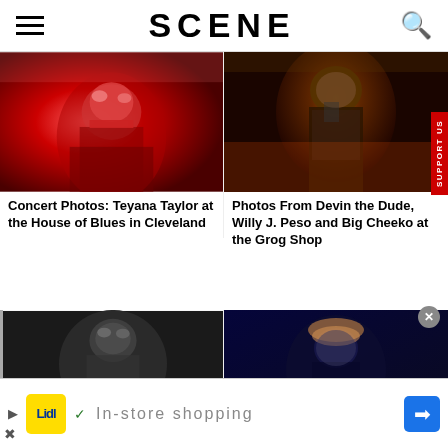SCENE
[Figure (photo): Concert photo of Teyana Taylor performing on stage in red lighting, wearing red leather jacket and sunglasses]
Concert Photos: Teyana Taylor at the House of Blues in Cleveland
[Figure (photo): Concert photo of Devin the Dude performing on stage holding a microphone, wearing a dark shirt with chain necklace]
Photos From Devin the Dude, Willy J. Peso and Big Cheeko at the Grog Shop
[Figure (photo): Concert photo bottom left, performer with sunglasses on dark background]
[Figure (photo): Concert photo bottom right, performer with colorful headwrap on dark stage]
In-store shopping